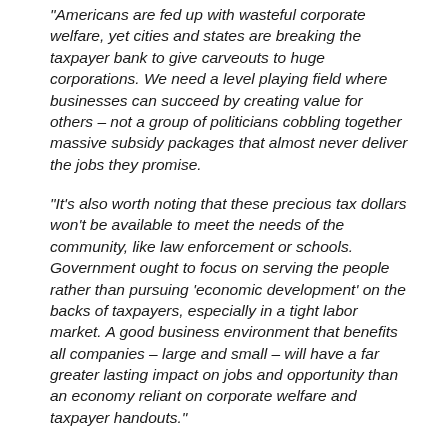“Americans are fed up with wasteful corporate welfare, yet cities and states are breaking the taxpayer bank to give carveouts to huge corporations. We need a level playing field where businesses can succeed by creating value for others – not a group of politicians cobbling together massive subsidy packages that almost never deliver the jobs they promise.
“It’s also worth noting that these precious tax dollars won’t be available to meet the needs of the community, like law enforcement or schools. Government ought to focus on serving the people rather than pursuing ‘economic development’ on the backs of taxpayers, especially in a tight labor market. A good business environment that benefits all companies – large and small – will have a far greater lasting impact on jobs and opportunity than an economy reliant on corporate welfare and taxpayer handouts.”
BACKGROUND: